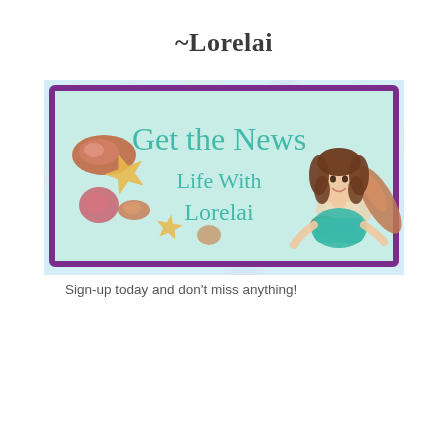~Lorelai
[Figure (illustration): A promotional banner for 'Life With Lorelai' newsletter signup. The banner has a purple border, a mint/teal background, script text reading 'Get the News / Life With / Lorelai', decorative seashells and starfish, and a cartoon illustration of a woman with brown curly hair wearing a teal top. The background behind the banner has a multicolor bokeh shimmer effect.]
Sign-up today and don't miss anything!